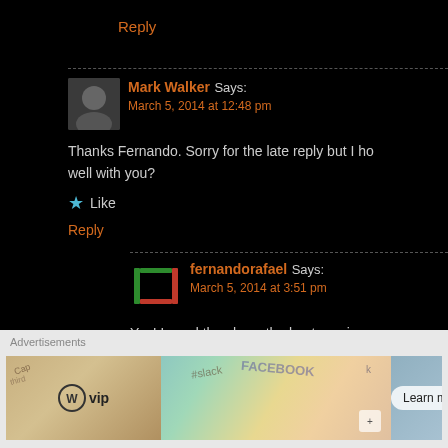Reply
Mark Walker Says: March 5, 2014 at 12:48 pm
Thanks Fernando. Sorry for the late reply but I ho well with you?
Like
Reply
fernandorafael Says: March 5, 2014 at 3:51 pm
Yes! Loved the show, the best one in re course, I'm thrilled about Cuarón's win.
Like
Mark Walker Says: March 5, 2014 at 3:55 pm
I thought you would be. It's a des
Advertisements
[Figure (infographic): WordPress VIP advertisement banner with logo and Learn more button]